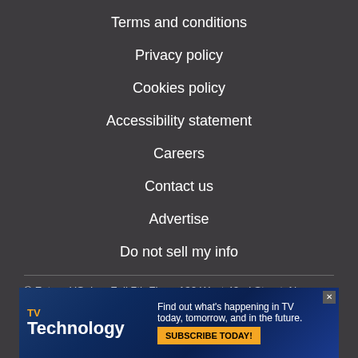Terms and conditions
Privacy policy
Cookies policy
Accessibility statement
Careers
Contact us
Advertise
Do not sell my info
© Future US, Inc. Full 7th Floor, 130 West 42nd Street, New
[Figure (screenshot): TVTechnology advertisement banner: 'Find out what's happening in TV today, tomorrow, and in the future. SUBSCRIBE TODAY!']